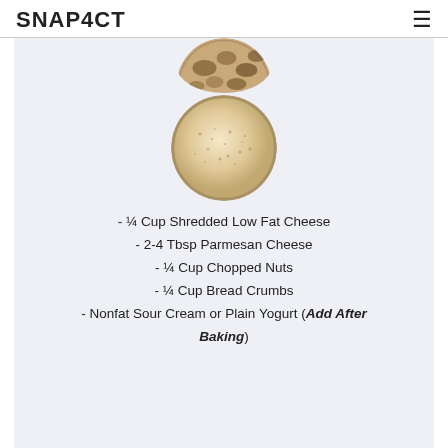SNAP4CT
[Figure (photo): Circular photo of chopped nuts from above, partially cropped at top]
[Figure (photo): Circular photo of bread crumbs or grated cheese in a bowl]
- ¼ Cup Shredded Low Fat Cheese
- 2-4 Tbsp Parmesan Cheese
- ¼ Cup Chopped Nuts
- ¼ Cup Bread Crumbs
- Nonfat Sour Cream or Plain Yogurt (Add After Baking)